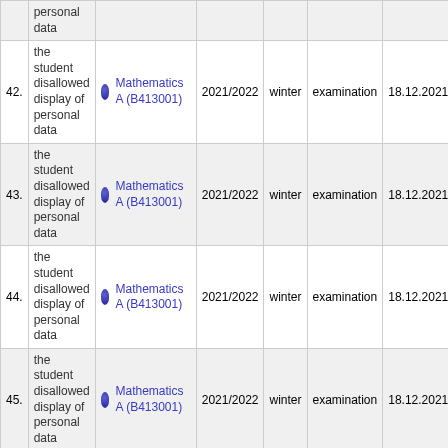| # | Student | Course | Year | Semester | Type | Date |
| --- | --- | --- | --- | --- | --- | --- |
|  | the student disallowed display of personal data | Mathematics A (B413001) |  |  |  |  |
| 42. | the student disallowed display of personal data | Mathematics A (B413001) | 2021/2022 | winter | examination | 18.12.2021 12:43:20 |
| 43. | the student disallowed display of personal data | Mathematics A (B413001) | 2021/2022 | winter | examination | 18.12.2021 13:29:47 |
| 44. | the student disallowed display of personal data | Mathematics A (B413001) | 2021/2022 | winter | examination | 18.12.2021 13:49:41 |
| 45. | the student disallowed display of personal data | Mathematics A (B413001) | 2021/2022 | winter | examination | 18.12.2021 13:49:49 |
| 46. | the student disallowed display of personal data | Mathematics A (B413001) | 2021/2022 | winter | examination | 18.12.2021 14:13:32 |